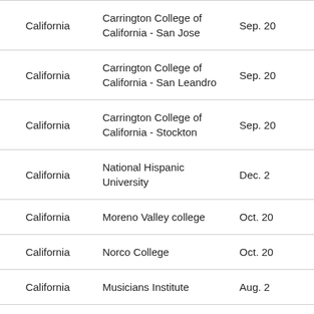| State | Institution | Date |
| --- | --- | --- |
| California | Carrington College of California - San Jose | Sep. 20 |
| California | Carrington College of California - San Leandro | Sep. 20 |
| California | Carrington College of California - Stockton | Sep. 20 |
| California | National Hispanic University | Dec. 2 |
| California | Moreno Valley college | Oct. 20 |
| California | Norco College | Oct. 20 |
| California | Musicians Institute | Aug. 2 |
| California | Southern California |  |